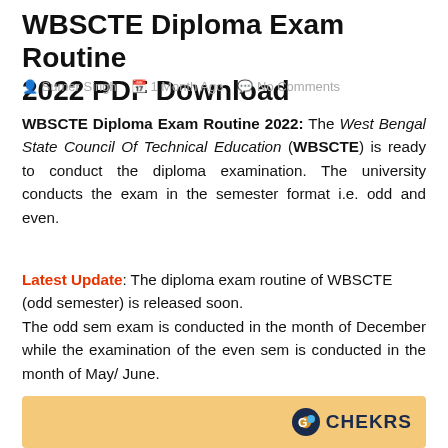WBSCTE Diploma Exam Routine 2022 PDF Download
Sumer Singh   1 Month Ago   No Comments
WBSCTE Diploma Exam Routine 2022: The West Bengal State Council Of Technical Education (WBSCTE) is ready to conduct the diploma examination. The university conducts the exam in the semester format i.e. odd and even.
Latest Update: The diploma exam routine of WBSCTE (odd semester) is released soon. The odd sem exam is conducted in the month of December while the examination of the even sem is conducted in the month of May/ June.
[Figure (other): CHEKRS logo on orange/tan banner background]